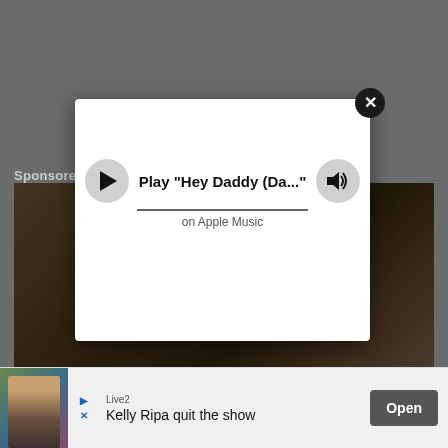[Figure (screenshot): Mobile app screenshot with dark gray background overlay. A white modal popup is shown with an Apple Music player prompt: Play "Hey Daddy (Da..." on Apple Music, with a play button on the left, a progress bar, and a volume/speaker button on the right. A close (X) button appears at the top right of the modal. Below is a sponsored content image with a brownish background. At the bottom is an ad banner showing a woman's photo (Kelly Ripa), a 'Live2' source label, headline text 'Kelly Ripa quit the sho...' and an 'Open' button.]